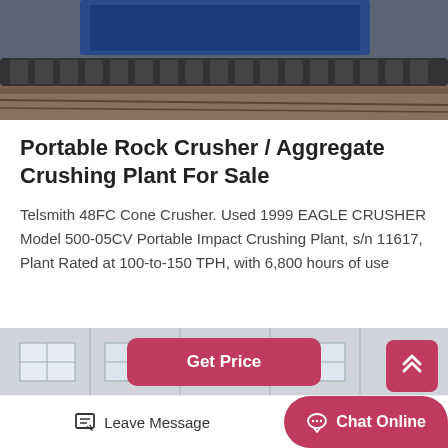[Figure (photo): Partial view of a tracked heavy machinery / rock crusher on dirt ground, photographed from below, showing undercarriage tracks.]
Portable Rock Crusher / Aggregate Crushing Plant For Sale
Telsmith 48FC Cone Crusher. Used 1999 EAGLE CRUSHER Model 500-05CV Portable Impact Crushing Plant, s/n 11617, Plant Rated at 100-to-150 TPH, with 6,800 hours of use
[Figure (other): Get Price button - rounded rectangle button in dark pink/crimson color with white bold text 'Get Price']
[Figure (photo): Photo of a white industrial building exterior with grid windows, multiple floors, grey metal cladding.]
[Figure (other): Scroll-to-top button, dark pink square with rounded corners, showing double up-chevron arrows in white.]
Leave Message
Chat Online